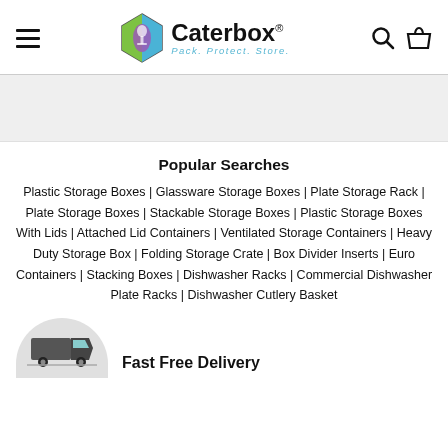Caterbox® — Pack. Protect. Store. — navigation header with hamburger menu, logo, search and basket icons
Popular Searches
Plastic Storage Boxes | Glassware Storage Boxes | Plate Storage Rack | Plate Storage Boxes | Stackable Storage Boxes | Plastic Storage Boxes With Lids | Attached Lid Containers | Ventilated Storage Containers | Heavy Duty Storage Box | Folding Storage Crate | Box Divider Inserts | Euro Containers | Stacking Boxes | Dishwasher Racks | Commercial Dishwasher Plate Racks | Dishwasher Cutlery Basket
[Figure (infographic): Fast Free Delivery icon — delivery truck icon on grey semicircle background with bold text 'Fast Free Delivery']